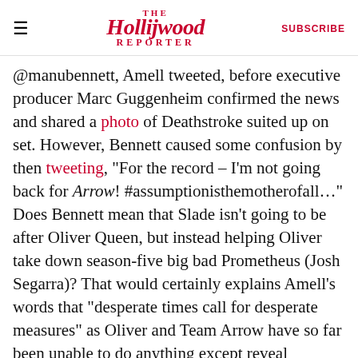The Hollywood Reporter | SUBSCRIBE
@manubennett, Amell tweeted, before executive producer Marc Guggenheim confirmed the news and shared a photo of Deathstroke suited up on set. However, Bennett caused some confusion by then tweeting, "For the record – I'm not going back for Arrow! #assumptionisthemotherofall..." Does Bennett mean that Slade isn't going to be after Oliver Queen, but instead helping Oliver take down season-five big bad Prometheus (Josh Segarra)? That would certainly explains Amell's words that "desperate times call for desperate measures" as Oliver and Team Arrow have so far been unable to do anything except reveal Prometheus' identity as District Attorney Adrian Chase to Star City. Because there's no way Bennett meant he's not coming back